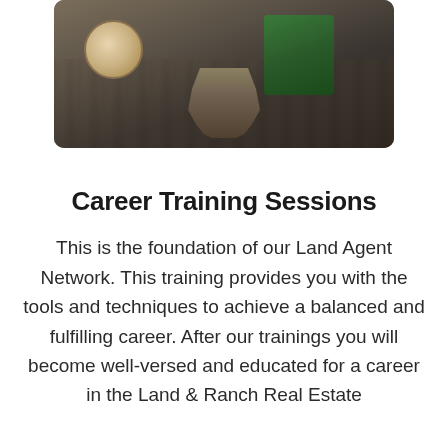[Figure (photo): Overhead photo of a coffee cup and a green branded item (bag or book) on a dark wooden table surface, with what appears to be a rope or tassel object]
Career Training Sessions
This is the foundation of our Land Agent Network. This training provides you with the tools and techniques to achieve a balanced and fulfilling career. After our trainings you will become well-versed and educated for a career in the Land & Ranch Real Estate